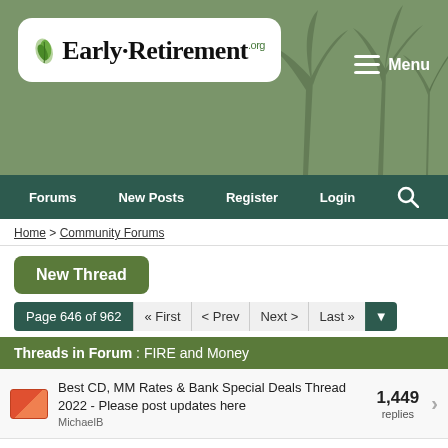[Figure (logo): Early-Retirement.org logo with leaf graphic on white rounded rectangle, palm tree silhouettes in background, sage green banner header with Menu button]
Forums  New Posts  Register  Login
Home > Community Forums
New Thread
Page 646 of 962  « First  < Prev  Next >  Last »
Threads in Forum : FIRE and Money
Best CD, MM Rates & Bank Special Deals Thread 2022 - Please post updates here
MichaelB
1,449 replies
The important "trigger" income levels for 2022
Gumby
38 replies